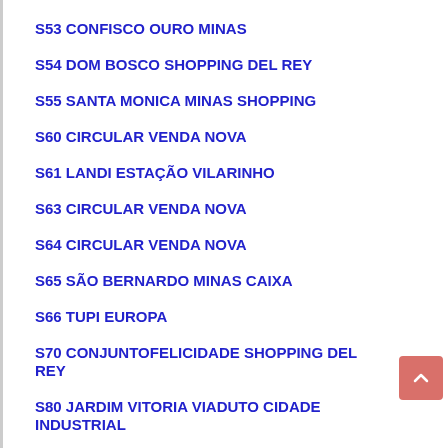S53 CONFISCO OURO MINAS
S54 DOM BOSCO SHOPPING DEL REY
S55 SANTA MONICA MINAS SHOPPING
S60 CIRCULAR VENDA NOVA
S61 LANDI ESTAÇÃO VILARINHO
S63 CIRCULAR VENDA NOVA
S64 CIRCULAR VENDA NOVA
S65 SÃO BERNARDO MINAS CAIXA
S66 TUPI EUROPA
S70 CONJUNTOFELICIDADE SHOPPING DEL REY
S80 JARDIM VITORIA VIADUTO CIDADE INDUSTRIAL
S81 CIRCULAR NORDESTE